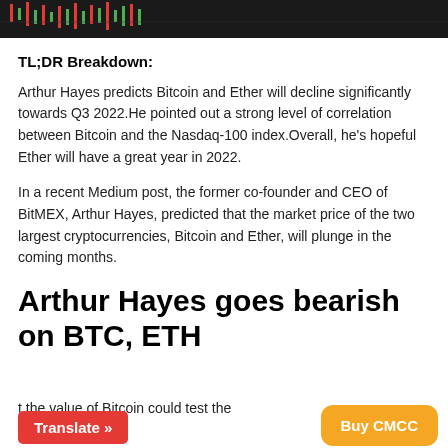[Figure (photo): Dark background image with green and red candlestick chart elements visible at the top of the page]
TL;DR Breakdown:
Arthur Hayes predicts Bitcoin and Ether will decline significantly towards Q3 2022.He pointed out a strong level of correlation between Bitcoin and the Nasdaq-100 index.Overall, he’s hopeful Ether will have a great year in 2022.
In a recent Medium post, the former co-founder and CEO of BitMEX, Arthur Hayes, predicted that the market price of the two largest cryptocurrencies, Bitcoin and Ether, will plunge in the coming months.
Arthur Hayes goes bearish on BTC, ETH
t the value of Bitcoin could test the